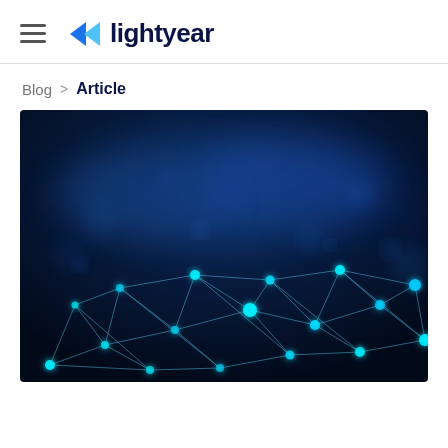lightyear
Blog > Article
[Figure (photo): Abstract dark blue digital network visualization with glowing cyan nodes connected by thin lines forming a triangular mesh pattern, with blurred bokeh light effects in the background suggesting a technology/connectivity theme.]